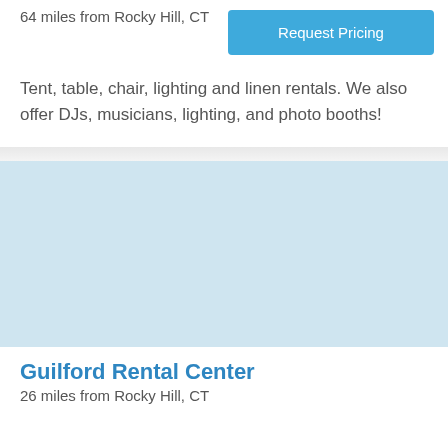64 miles from Rocky Hill, CT
Request Pricing
Tent, table, chair, lighting and linen rentals. We also offer DJs, musicians, lighting, and photo booths!
[Figure (photo): Light blue placeholder image area]
Guilford Rental Center
26 miles from Rocky Hill, CT